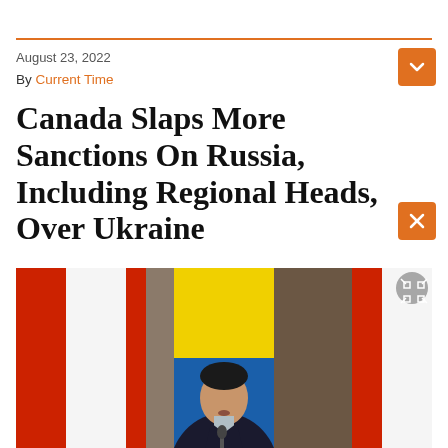August 23, 2022
By Current Time
Canada Slaps More Sanctions On Russia, Including Regional Heads, Over Ukraine
[Figure (photo): A person in a dark suit standing at a podium with red-white flags and Ukrainian flag in background]